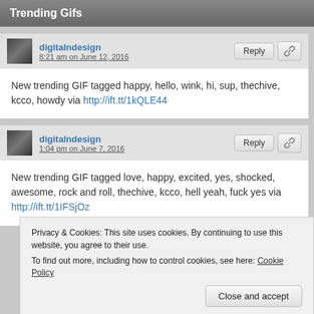Trending Gifs
digitalndesign
8:21 am on June 12, 2016
New trending GIF tagged happy, hello, wink, hi, sup, thechive, kcco, howdy via http://ift.tt/1kQLE44
digitalndesign
1:04 pm on June 7, 2016
New trending GIF tagged love, happy, excited, yes, shocked, awesome, rock and roll, thechive, kcco, hell yeah, fuck yes via http://ift.tt/1IFSjOz
Privacy & Cookies: This site uses cookies. By continuing to use this website, you agree to their use.
To find out more, including how to control cookies, see here: Cookie Policy
Close and accept